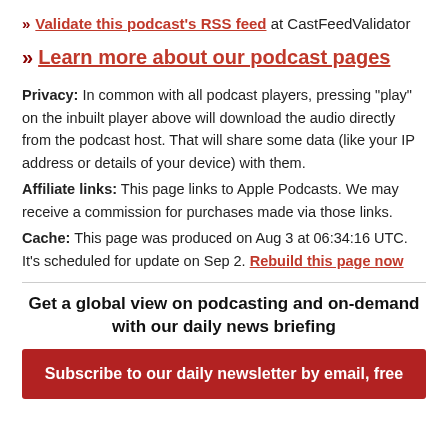» Validate this podcast's RSS feed at CastFeedValidator
» Learn more about our podcast pages
Privacy: In common with all podcast players, pressing "play" on the inbuilt player above will download the audio directly from the podcast host. That will share some data (like your IP address or details of your device) with them. Affiliate links: This page links to Apple Podcasts. We may receive a commission for purchases made via those links. Cache: This page was produced on Aug 3 at 06:34:16 UTC. It's scheduled for update on Sep 2. Rebuild this page now
Get a global view on podcasting and on-demand with our daily news briefing
Subscribe to our daily newsletter by email, free